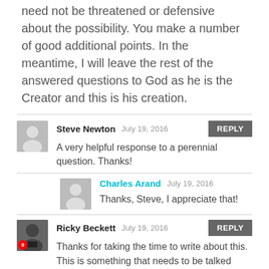need not be threatened or defensive about the possibility. You make a number of good additional points. In the meantime, I will leave the rest of the answered questions to God as he is the Creator and this is his creation.
Steve Newton  July 19, 2016
A very helpful response to a perennial question. Thanks!
Charles Arand  July 19, 2016
Thanks, Steve, I appreciate that!
Ricky Beckett  July 19, 2016
Thanks for taking the time to write about this. This is something that needs to be talked